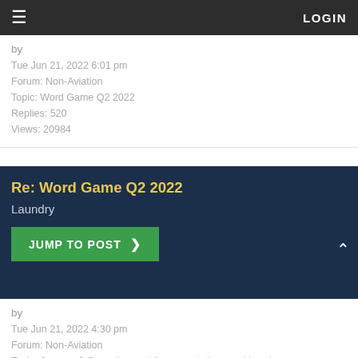LOGIN
by
Tue Jun 21, 2022 6:01 pm
Forum: Non-Aviation
Topic: Word Game Q2 2022
Replies: 520
Views: 20984
Re: Word Game Q2 2022
Laundry
JUMP TO POST
by
Tue Jun 21, 2022 4:30 pm
Forum: Non-Aviation
Topic: January 6 Committee public presentations and hearings
Replies: 497
Views: 24725
Re: January 6 Committee public presentations and hearings
On the personal level, how can we have a constructive discussion when one side won't discuss the facts and instead merely espouses their opinion, (often presented as fact)? Our nation's favorite "cowboy" Cou Griffin, the New Mexico county commissioner will probably become